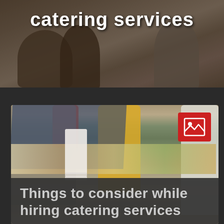[Figure (photo): Photo of people at a catering or food event with text overlay 'catering services' at the top]
catering services
[Figure (photo): Photo of a buffet table with many food dishes and people serving themselves, with a red image placeholder icon in the top right corner]
Things to consider while hiring catering services